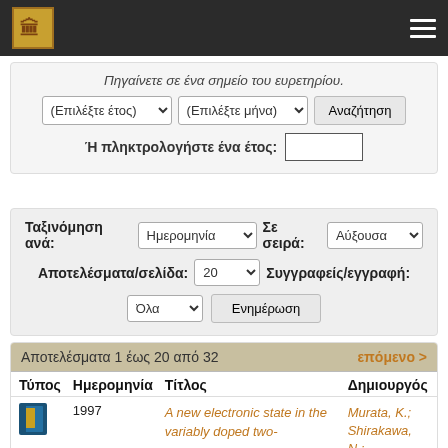Πηγαίνετε σε ένα σημείο του ευρετηρίου.
(Επιλέξτε έτος) ▼   (Επιλέξτε μήνα) ▼   Αναζήτηση
Ή πληκτρολογήστε ένα έτος:
Ταξινόμηση ανά: Ημερομηνία ▼   Σε σειρά: Αύξουσα ▼
Αποτελέσματα/σελίδα: 20 ▼   Συγγραφείς/εγγραφή:
Όλα ▼   Ενημέρωση
| Τύπος | Ημερομηνία | Τίτλος | Δημιουργός |
| --- | --- | --- | --- |
| [icon] | 1997 | A new electronic state in the variably doped two- | Murata, K.; Shirakawa, N.; |
Αποτελέσματα 1 έως 20 από 32
επόμενο >